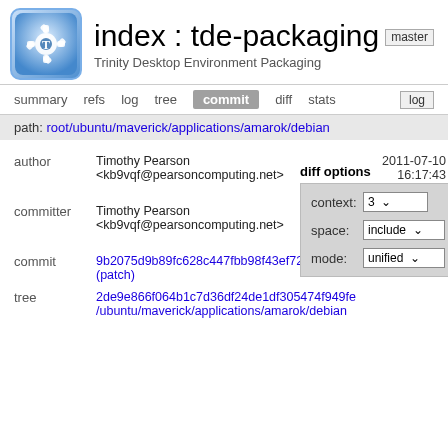index : tde-packaging  master  Trinity Desktop Environment Packaging
summary  refs  log  tree  commit  diff  stats  log
path: root/ubuntu/maverick/applications/amarok/debian
diff options
context: 3
space: include
mode: unified
|  |  |  |
| --- | --- | --- |
| author | Timothy Pearson <kb9vqf@pearsoncomputing.net> | 2011-07-10 16:17:43 -0500 |
| committer | Timothy Pearson <kb9vqf@pearsoncomputing.net> | 2011-07-10 16:17:43 -0500 |
| commit | 9b2075d9b89fc628c447fbb98f43ef72e4a9c81d (patch) |  |
| tree | 2de9e866f064b1c7d36df24de1df305474f949fe /ubuntu/maverick/applications/amarok/debian |  |